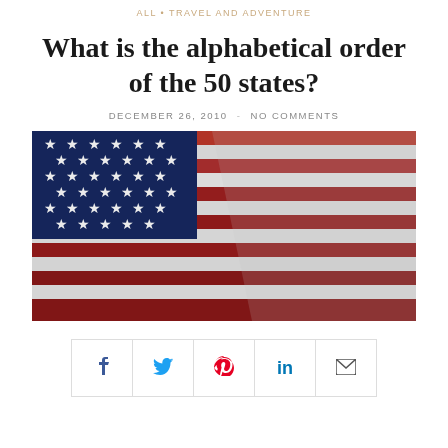ALL • TRAVEL AND ADVENTURE
What is the alphabetical order of the 50 states?
DECEMBER 26, 2010  -  NO COMMENTS
[Figure (photo): Close-up photograph of the American flag showing stars on blue field and red and white stripes]
[Figure (infographic): Social sharing bar with icons for Facebook, Twitter, Pinterest, LinkedIn, and Email]